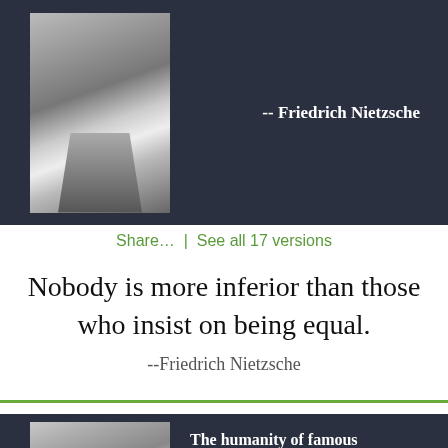[Figure (photo): Black and white portrait photo of Friedrich Nietzsche in a dark card background]
-- Friedrich Nietzsche
Share...  |  See all 17 versions
Nobody is more inferior than those who insist on being equal.
--Friedrich Nietzsche
[Figure (photo): Black and white portrait photo of Friedrich Nietzsche, younger, in a dark card background]
The humanity of famous intellectuals lies in being wrong with gracious courtesy